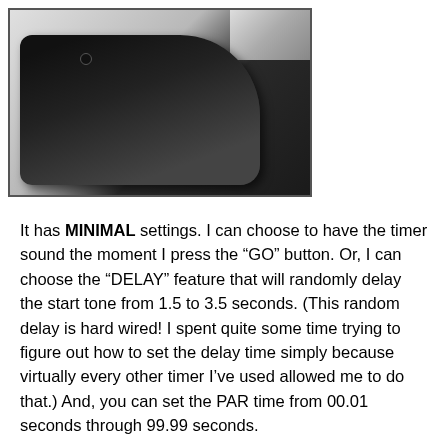[Figure (photo): A black electronic timer/device photographed against a white background, showing a black rectangular body with a silver metal component at the top and a small circular button or port on the surface.]
It has MINIMAL settings. I can choose to have the timer sound the moment I press the “GO” button. Or, I can choose the “DELAY” feature that will randomly delay the start tone from 1.5 to 3.5 seconds. (This random delay is hard wired! I spent quite some time trying to figure out how to set the delay time simply because virtually every other timer I’ve used allowed me to do that.) And, you can set the PAR time from 00.01 seconds through 99.99 seconds.
It’s a fairly compact size, about 1-1/2 inches thick, 3-7/8 inches wide and 4-3/4 inches deep.  Not tiny, but not overly large either.  The buttons are big enough to easily allow their use by a gloved hand.
Once you have chosen either “Immediate” or “Delay” and